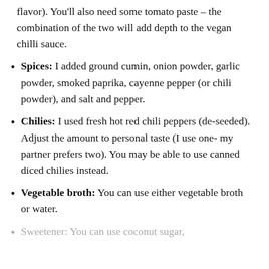flavor). You'll also need some tomato paste – the combination of the two will add depth to the vegan chilli sauce.
Spices: I added ground cumin, onion powder, garlic powder, smoked paprika, cayenne pepper (or chili powder), and salt and pepper.
Chilies: I used fresh hot red chili peppers (de-seeded). Adjust the amount to personal taste (I use one- my partner prefers two). You may be able to use canned diced chilies instead.
Vegetable broth: You can use either vegetable broth or water.
Sweetener: You can use coconut sugar,